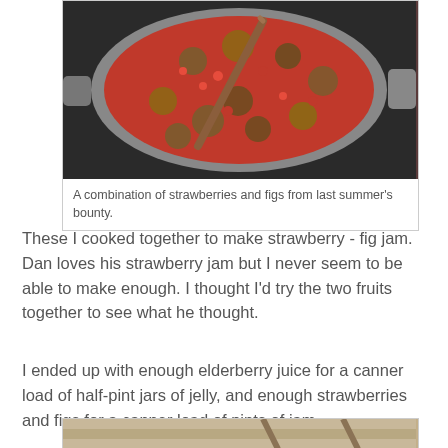[Figure (photo): Overhead view of a large pot on a stove containing strawberries and figs cooking together, with a wooden spoon stirring the red and brown fruit mixture.]
A combination of strawberries and figs from last summer's bounty.
These I cooked together to make strawberry - fig jam. Dan loves his strawberry jam but I never seem to be able to make enough. I thought I'd try the two fruits together to see what he thought.
I ended up with enough elderberry juice for a canner load of half-pint jars of jelly, and enough strawberries and figs for a canner load of pints of jam.
[Figure (photo): Partial view of another photo at the bottom of the page, appears to show canning jars or related equipment.]